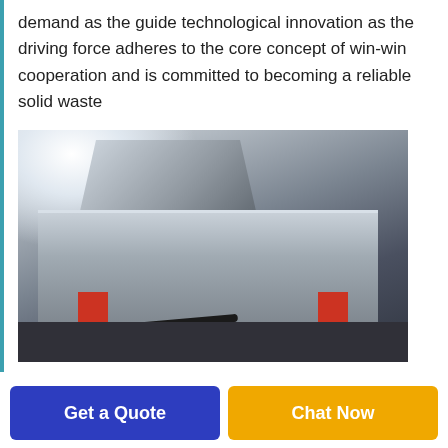demand as the guide technological innovation as the driving force adheres to the core concept of win-win cooperation and is committed to becoming a reliable solid waste
[Figure (photo): Industrial solid waste processing machine in a factory setting. A large metallic shredder or crusher machine with a hopper on top, supported by red cylindrical legs, with electrical cables on the floor. Factory background with additional equipment visible.]
Get a Quote
Chat Now